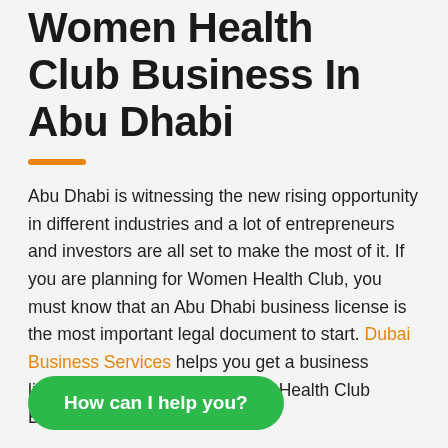Women Health Club Business In Abu Dhabi
Abu Dhabi is witnessing the new rising opportunity in different industries and a lot of entrepreneurs and investors are all set to make the most of it. If you are planning for Women Health Club, you must know that an Abu Dhabi business license is the most important legal document to start. Dubai Business Services helps you get a business license for Setting Up A Women Health Club Business In Abu Dhabi.
Know Women Health Club Scenario with Us
...d in business formation via Abu Dhabi Economic Department if you are well-
How can I help you?